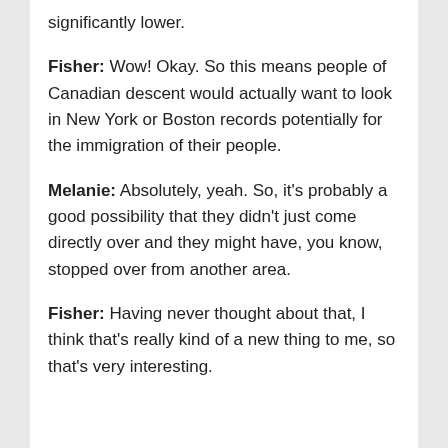significantly lower.
Fisher: Wow! Okay. So this means people of Canadian descent would actually want to look in New York or Boston records potentially for the immigration of their people.
Melanie: Absolutely, yeah. So, it's probably a good possibility that they didn't just come directly over and they might have, you know, stopped over from another area.
Fisher: Having never thought about that, I think that's really kind of a new thing to me, so that's very interesting.